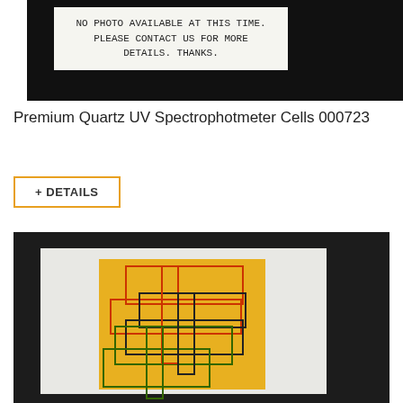[Figure (photo): Dark background product image placeholder with white note card reading: NO PHOTO AVAILABLE AT THIS TIME. PLEASE CONTACT US FOR MORE DETAILS. THANKS.]
Premium Quartz UV Spectrophotmeter Cells 000723
+ DETAILS
[Figure (photo): Product image on dark background showing white card with yellow background graphic displaying overlapping red, black, and green rectangular outlines forming a cross/T-shaped pattern — UV spectrophotometer cell diagram.]